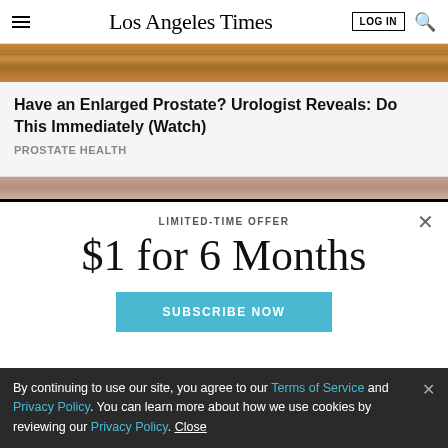Los Angeles Times — LOG IN
[Figure (photo): Wood grain surface, close-up photo strip]
Have an Enlarged Prostate? Urologist Reveals: Do This Immediately (Watch)
PROSTATE HEALTH
[Figure (photo): Close-up of a person's face/skin, partial view strip]
LIMITED-TIME OFFER
$1 for 6 Months
SUBSCRIBE NOW
By continuing to use our site, you agree to our Terms of Service and Privacy Policy. You can learn more about how we use cookies by reviewing our Privacy Policy. Close